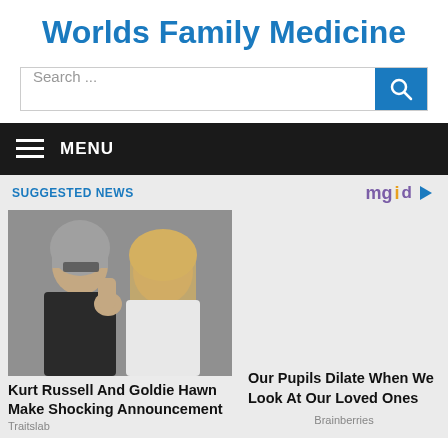Worlds Family Medicine
Search ...
MENU
SUGGESTED NEWS
[Figure (photo): Photo of Kurt Russell and Goldie Hawn at an event]
Kurt Russell And Goldie Hawn Make Shocking Announcement
Traitslab
Our Pupils Dilate When We Look At Our Loved Ones
Brainberries